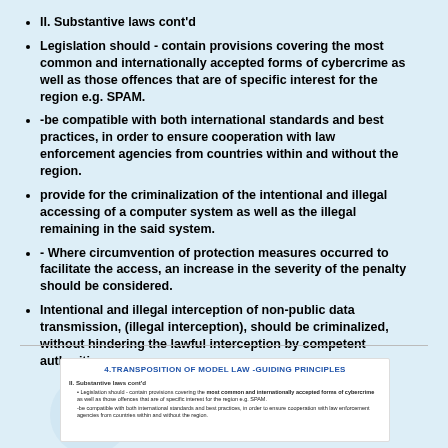II. Substantive laws cont'd
Legislation should - contain provisions covering the most common and internationally accepted forms of cybercrime as well as those offences that are of specific interest for the region e.g. SPAM.
-be compatible with both international standards and best practices, in order to ensure cooperation with law enforcement agencies from countries within and without the region.
provide for the criminalization of the intentional and illegal accessing of a computer system as well as the illegal remaining in the said system.
- Where circumvention of protection measures occurred to facilitate the access, an increase in the severity of the penalty should be considered.
Intentional and illegal interception of non-public data transmission, (illegal interception), should be criminalized, without hindering the lawful interception by competent authorities.
[Figure (screenshot): Thumbnail of presentation slide titled '4.TRANSPOSITION OF MODEL LAW -GUIDING PRINCIPLES' showing bullet points about substantive laws]